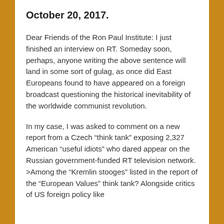October 20, 2017.
Dear Friends of the Ron Paul Institute: I just finished an interview on RT. Someday soon, perhaps, anyone writing the above sentence will land in some sort of gulag, as once did East Europeans found to have appeared on a foreign broadcast questioning the historical inevitability of the worldwide communist revolution.
In my case, I was asked to comment on a new report from a Czech “think tank” exposing 2,327 American “useful idiots” who dared appear on the Russian government-funded RT television network. >Among the “Kremlin stooges” listed in the report of the “European Values” think tank? Alongside critics of US foreign policy like